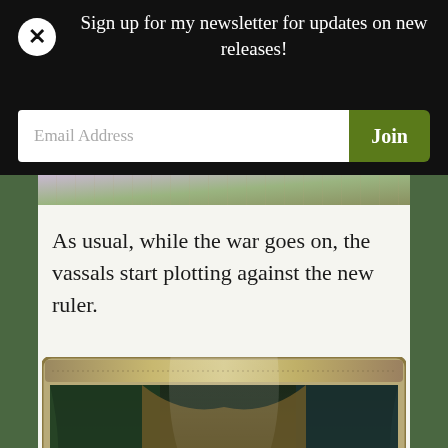Sign up for my newsletter for updates on new releases!
Email Address
Join
As usual, while the war goes on, the vassals start plotting against the new ruler.
[Figure (screenshot): A game card image showing two silhouette figures in a dramatic scene — one kneeling and gesturing toward another seated figure — set in a darkened tent or room with green drapery and a light source behind them. The card has an ornamental medieval frame with a portrait medallion of a crowned figure at the bottom left and a shield emblem.]